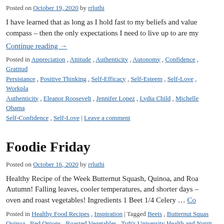Posted on October 19, 2020 by rrluthi
I have learned that as long as I hold fast to my beliefs and values and follow my own moral compass – then the only expectations I need to live up to are my
Continue reading →
Posted in Appreciation, Attitude, Authenticity, Autonomy, Confidence, Gratitude, Persistance, Positive Thinking, Self-Efficacy, Self-Esteem, Self-Love, Workplace, Authenticity, Eleanor Roosevelt, Jennifer Lopez, Lydia Child, Michelle Obama, Self-Confidence, Self-Love | Leave a comment
Foodie Friday
Posted on October 16, 2020 by rrluthi
Healthy Recipe of the Week Butternut Squash, Quinoa, and Roasted Vegetables Autumn! Falling leaves, cooler temperatures, and shorter days – oven and roast vegetables! Ingredients 1 Beet 1/4 Celery … Continue reading →
Posted in Healthy Food Recipes, Inspiration | Tagged Beets, Butternut Squash, Quinoa, Red Onions, Roasted Vegetables, Tuft's University Health and Nutrition | Leave a comment